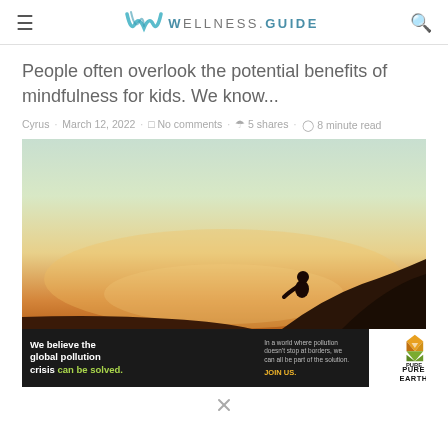WELLNESS.GUIDE
People often overlook the potential benefits of mindfulness for kids. We know...
Cyrus · March 12, 2022 · No comments · 5 shares · 8 minute read
[Figure (photo): Person silhouetted against a warm golden-orange sunset sky, sitting on rocks]
[Figure (infographic): Pure Earth advertisement banner: 'We believe the global pollution crisis can be solved.' with JOIN US call to action]